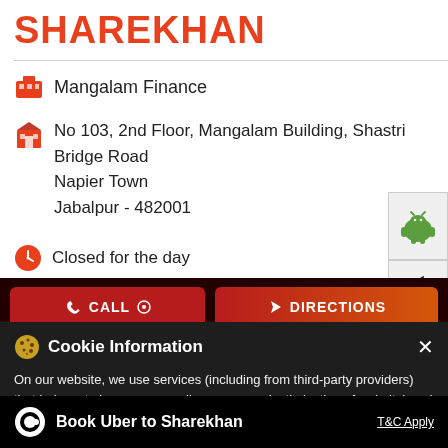SHAREKHAN
Mangalam Finance
No 103, 2nd Floor, Mangalam Building, Shastri Bridge Road
Napier Town
Jabalpur - 482001
Closed for the day
[Figure (screenshot): Android app store button (green Android robot icon)]
[Figure (screenshot): Apple App Store button (Apple logo icon)]
CALL
DIRECTIONS
Cookie Information
On our website, we use services (including from third-party providers) that help us to improve our online presence (optimization of website) and to display content that is geared to their interests. We need your consent before being able to use these services.
Book Uber to Sharekhan
T&C Apply